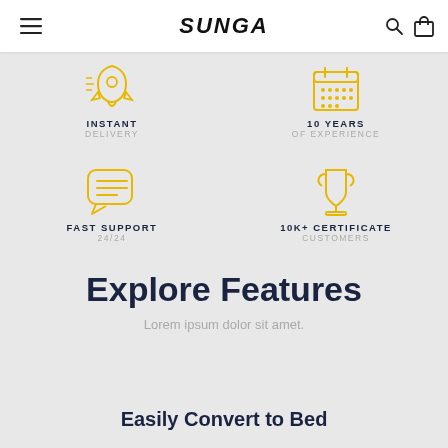SUNGA
[Figure (infographic): Four feature icons in a 2x2 grid: rocket icon with INSTANT DELIVERY, calendar icon with 10 YEARS OF EXPERIENCE, chat bubble icon with FAST SUPPORT 24/24, trophy icon with 10k+ CERTIFICATE CUSTOMERS]
Explore Features
Lorem ipsum dolor sit amet.
Easily Convert to Bed